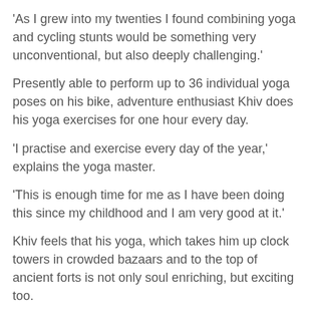'As I grew into my twenties I found combining yoga and cycling stunts would be something very unconventional, but also deeply challenging.'
Presently able to perform up to 36 individual yoga poses on his bike, adventure enthusiast Khiv does his yoga exercises for one hour every day.
'I practise and exercise every day of the year,' explains the yoga master.
'This is enough time for me as I have been doing this since my childhood and I am very good at it.'
Khiv feels that his yoga, which takes him up clock towers in crowded bazaars and to the top of ancient forts is not only soul enriching, but exciting too.
[Figure (photo): A person performing a yoga pose standing on a bicycle, arms outstretched, against a warm glowing background]